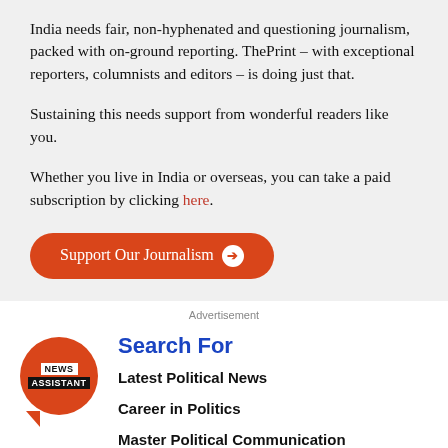India needs fair, non-hyphenated and questioning journalism, packed with on-ground reporting. ThePrint – with exceptional reporters, columnists and editors – is doing just that.
Sustaining this needs support from wonderful readers like you.
Whether you live in India or overseas, you can take a paid subscription by clicking here.
[Figure (other): Orange rounded button labeled 'Support Our Journalism' with a right arrow icon]
Advertisement
[Figure (logo): News Assistant logo — red circle with NEWS / ASSISTANT text blocks and a tail]
Search For
Latest Political News
Career in Politics
Master Political Communication
Political Issues in the World